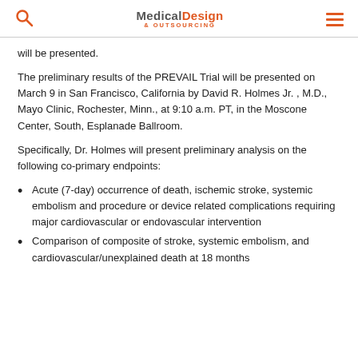Medical Design & Outsourcing
will be presented.
The preliminary results of the PREVAIL Trial will be presented on March 9 in San Francisco, California by David R. Holmes Jr. , M.D., Mayo Clinic, Rochester, Minn., at 9:10 a.m. PT, in the Moscone Center, South, Esplanade Ballroom.
Specifically, Dr. Holmes will present preliminary analysis on the following co-primary endpoints:
Acute (7-day) occurrence of death, ischemic stroke, systemic embolism and procedure or device related complications requiring major cardiovascular or endovascular intervention
Comparison of composite of stroke, systemic embolism, and cardiovascular/unexplained death at 18 months